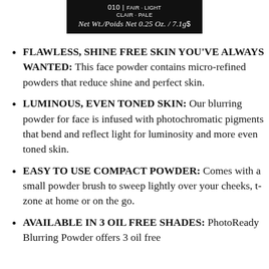[Figure (photo): Product label on black background showing shade 010 Fair/Light/Clair/Pale and Net Wt./Poids Net 0.25 Oz. / 7.1g]
FLAWLESS, SHINE FREE SKIN YOU'VE ALWAYS WANTED: This face powder contains micro-refined powders that reduce shine and perfect skin.
LUMINOUS, EVEN TONED SKIN: Our blurring powder for face is infused with photochromatic pigments that bend and reflect light for luminosity and more even toned skin.
EASY TO USE COMPACT POWDER: Comes with a small powder brush to sweep lightly over your cheeks, t-zone at home or on the go.
AVAILABLE IN 3 OIL FREE SHADES: PhotoReady Blurring Powder offers 3 oil free